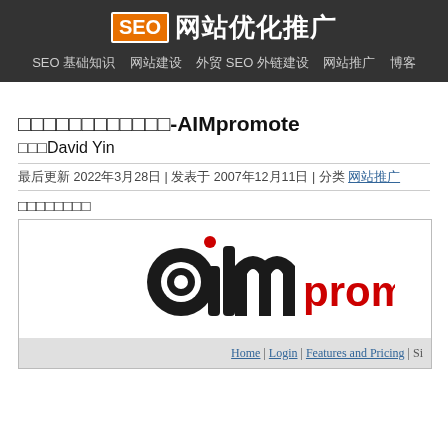SEO 网站优化推广
SEO 基础知识 | 网站建设 | 外贸 SEO 外链建设 | 网站推广 | 博客
□□□□□□□□□□□□-AIMpromote
□□□David Yin
最后更新 2022年3月28日 | 发表于 2007年12月11日 | 分类 网站推广
□□□□□□□□
[Figure (screenshot): AIMpromote website screenshot showing the aim promote logo with stylized 'am' in black and 'promote' in red, with navigation links Home | Login | Features and Pricing | Si...]